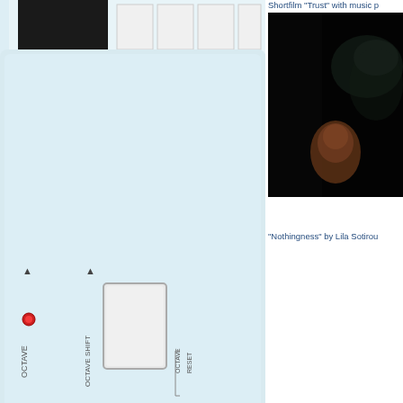[Figure (photo): Close-up photograph of a keyboard synthesizer control panel showing OCTAVE and OCTAVE SHIFT buttons with red LEDs and two rectangular white buttons, OCTAVE RESET label visible]
Shortfilm "Trust" with music p
[Figure (photo): Dark scene from a short film showing a figure in low light with blurred dark background and some warm tones]
"Nothingness" by Lila Sotirou